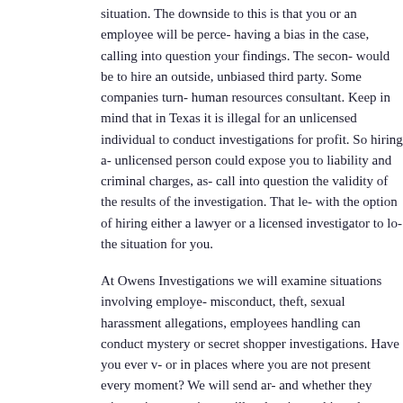situation. The downside to this is that you or an employee will be perceived as having a bias in the case, calling into question your findings. The second option would be to hire an outside, unbiased third party. Some companies turn to a human resources consultant. Keep in mind that in Texas it is illegal for an unlicensed individual to conduct investigations for profit. So hiring an unlicensed person could expose you to liability and criminal charges, as well as call into question the validity of the results of the investigation. That leaves you with the option of hiring either a lawyer or a licensed investigator to look into the situation for you.
At Owens Investigations we will examine situations involving employee misconduct, theft, sexual harassment allegations, employees handling cash. We can conduct mystery or secret shopper investigations. Have you ever wondered what goes on in your business or in places where you are not present every moment? We will send an investigator in and whether they witness inappropriate or illegal actions taking place.
So if you have a need or concern with your business, call us today. We will help solve your problem. Call 972-550-1200 or email us today to set up